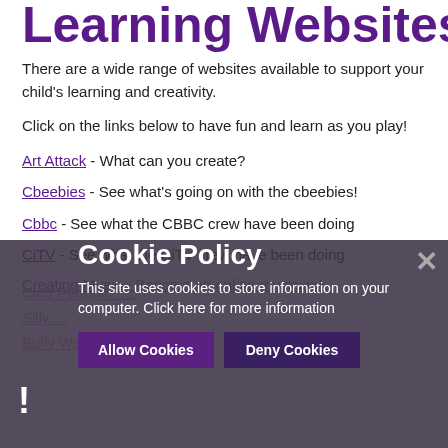Learning Websites
There are a wide range of websites available to support your child's learning and creativity.
Click on the links below to have fun and learn as you play!
Art Attack - What can you create?
Cbeebies - See what's going on with the cbeebies!
Cbbc - See what the CBBC crew have been doing
CiTV - See what the CiTV crew have been doing
Creating Music - Become an online musician!
Club Penguin - ...
Silly ...
Bully World ...
[Figure (screenshot): Cookie Policy overlay popup with title 'Cookie Policy', body text 'This site uses cookies to store information on your computer. Click here for more information', and two buttons: 'Allow Cookies' and 'Deny Cookies', plus a close X button. Background is dark semi-transparent.]